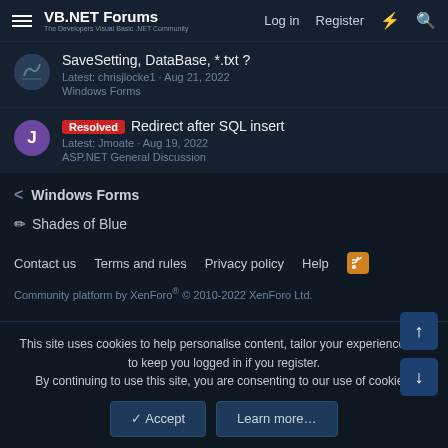VB.NET Forums — Log in  Register
SaveSetting, DataBase, *.txt ?
Latest: chrisjlocke1 · Aug 21, 2022
Windows Forms
Resolved  Redirect after SQL insert
Latest: Jmoate · Aug 19, 2022
ASP.NET General Discussion
< Windows Forms
✏ Shades of Blue
Contact us  Terms and rules  Privacy policy  Help
Community platform by XenForo® © 2010-2022 XenForo Ltd.
This site uses cookies to help personalise content, tailor your experience and to keep you logged in if you register.
By continuing to use this site, you are consenting to our use of cookies.
✓ Accept    Learn more…